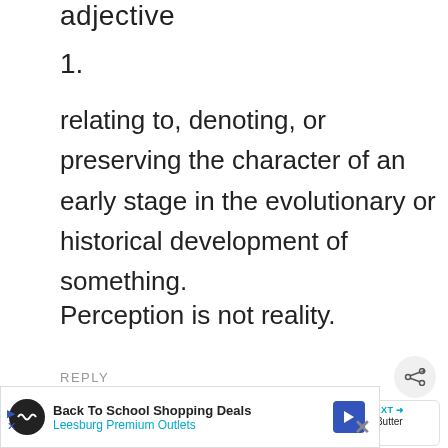adjective
1.
relating to, denoting, or preserving the character of an early stage in the evolutionary or historical development of something.
Perception is not reality.
REPLY
Soria
Back To School Shopping Deals Leesburg Premium Outlets